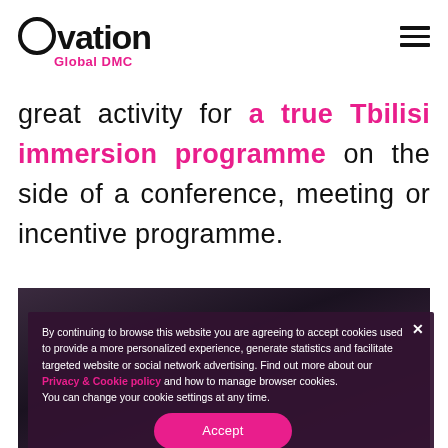Ovation Global DMC
great activity for a true Tbilisi immersion programme on the side of a conference, meeting or incentive programme.
[Figure (photo): Dark photo of people at an event, partially visible behind cookie consent banner]
By continuing to browse this website you are agreeing to accept cookies used to provide a more personalized experience, generate statistics and facilitate targeted website or social network advertising. Find out more about our Privacy & Cookie policy and how to manage browser cookies. You can change your cookie settings at any time. Accept